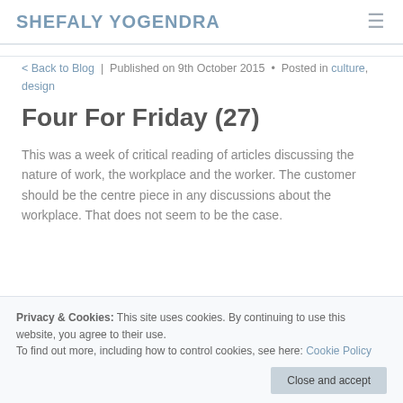SHEFALY YOGENDRA
< Back to Blog | Published on 9th October 2015 • Posted in culture, design
Four For Friday (27)
This was a week of critical reading of articles discussing the nature of work, the workplace and the worker. The customer should be the centre piece in any discussions about the workplace. That does not seem to be the case.
Privacy & Cookies: This site uses cookies. By continuing to use this website, you agree to their use. To find out more, including how to control cookies, see here: Cookie Policy